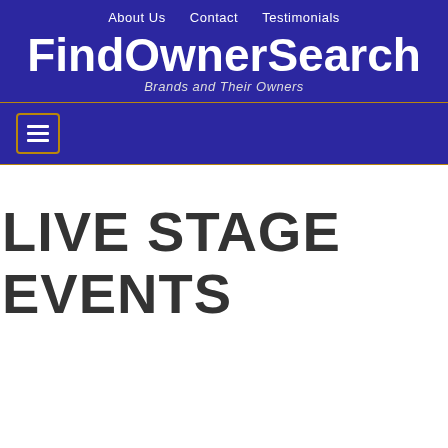About Us   Contact   Testimonials
FindOwnerSearch
Brands and Their Owners
[Figure (other): Hamburger menu toggle button with three horizontal lines]
LIVE STAGE EVENTS